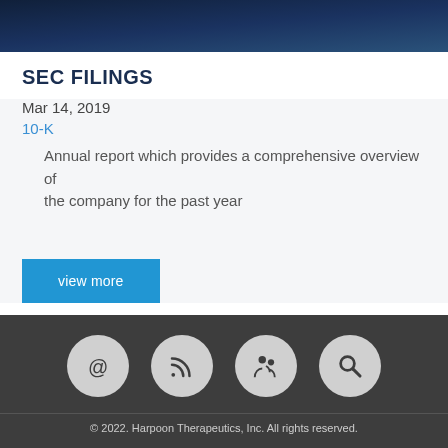[Figure (photo): Dark blue banner image at top of page]
SEC FILINGS
Mar 14, 2019
10-K
Annual report which provides a comprehensive overview of the company for the past year
view more
[Figure (infographic): Four circular icon buttons: email (@), RSS feed, user/person, and search magnifying glass]
© 2022. Harpoon Therapeutics, Inc. All rights reserved.